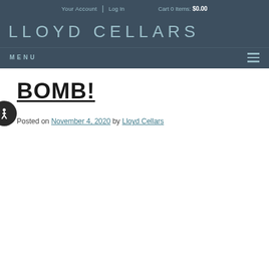Your Account | Log In   Cart 0 Items: $0.00
[Figure (logo): Lloyd Cellars logo text in teal/light blue on dark blue-grey background]
MENU
BOMB!
Posted on November 4, 2020 by Lloyd Cellars